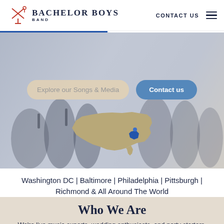BACHELOR BOYS BAND | CONTACT US
[Figure (screenshot): Hero section with band performers, a USA map silhouette with a blue highlight on the mid-Atlantic region, and two call-to-action buttons: 'Explore our Songs & Media' and 'Contact us']
Washington DC | Baltimore | Philadelphia | Pittsburgh | Richmond & All Around The World
Who We Are
We're live music experts, wedding enthusiasts, and party starters. We're a premium, customizable 3 to 14 piece